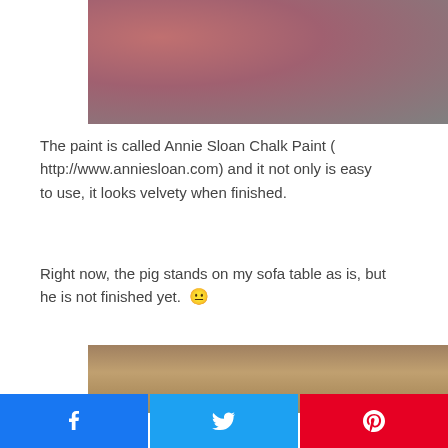[Figure (photo): Close-up photo of a pink fuzzy pig figurine, partially visible, on a dark background]
The paint is called Annie Sloan Chalk Paint ( http://www.anniesloan.com) and it not only is easy to use, it looks velvety when finished.
Right now, the pig stands on my sofa table as is, but he is not finished yet. 😐
[Figure (photo): Bottom portion of a photo showing a textured surface in brown and tan tones]
[Figure (other): Social share buttons row: Facebook (blue), Twitter (cyan), Pinterest (red)]